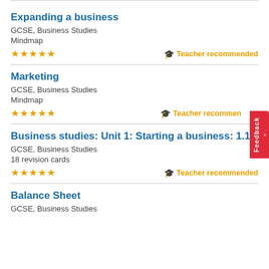Expanding a business
GCSE, Business Studies
Mindmap
★★★★★  Teacher recommended
Marketing
GCSE, Business Studies
Mindmap
★★★★★  Teacher recommended
Business studies: Unit 1: Starting a business: 1.1
GCSE, Business Studies
18 revision cards
★★★★★  Teacher recommended
Balance Sheet
GCSE, Business Studies